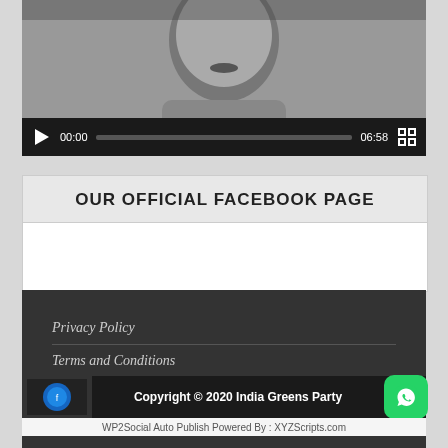[Figure (screenshot): Video player showing a black and white photo of a person, with playback controls showing 00:00 current time and 06:58 total duration]
OUR OFFICIAL FACEBOOK PAGE
[Figure (screenshot): Empty Facebook page embed area]
Privacy Policy
Terms and Conditions
Copyright © 2020 India Greens Party
WP2Social Auto Publish Powered By : XYZScripts.com